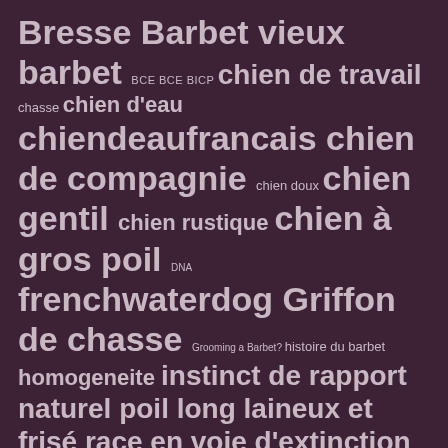Bresse Barbet vieux barbet BCE BCE BICP chien de travail chasse chien d'eau chiendeaufrancais chien de compagnie chien doux chien gentil chien rustique chien à gros poil DNA frenchwaterdog Griffon de chasse Grooming a Barbet? histoire du barbet homogeneite instinct de rapport naturel poil long laineux et frisé race en voie d'extinction Race